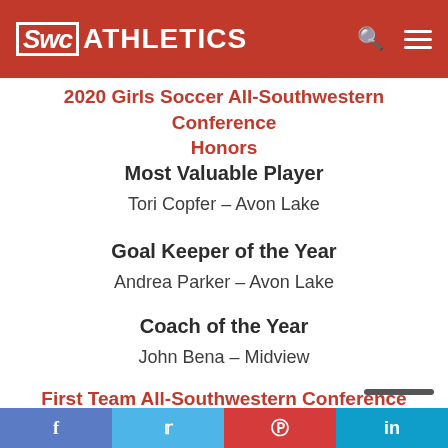SWC ATHLETICS
2020 Girls Soccer All-Southwestern Conference Honors
Most Valuable Player
Tori Copfer – Avon Lake
Goal Keeper of the Year
Andrea Parker – Avon Lake
Coach of the Year
John Bena – Midview
First Team All-Southwestern Conference
Merrik Mihalek – Amherst Steele
f  t  p  in